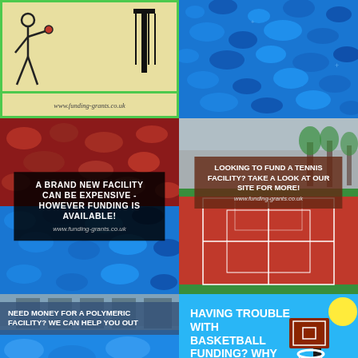[Figure (illustration): Stick figure playing tennis/sport with a net post, on a light sandy background with green border. URL: www.funding-grants.co.uk]
[Figure (photo): Close-up photo of blue rubber crumb surface material.]
[Figure (photo): Mixed red and blue rubber crumb surface with overlay text: A BRAND NEW FACILITY CAN BE EXPENSIVE - HOWEVER FUNDING IS AVAILABLE! www.funding-grants.co.uk]
[Figure (photo): Tennis courts viewed from ground level with dark-red overlay: LOOKING TO FUND A TENNIS FACILITY? TAKE A LOOK AT OUR SITE FOR MORE! www.funding-grants.co.uk]
[Figure (photo): Blue polymeric surface with overlay: NEED MONEY FOR A POLYMERIC FACILITY? WE CAN HELP YOU OUT www.funding-grants.co.uk]
[Figure (illustration): Cartoon basketball hoop illustration on blue/green sky background with text: HAVING TROUBLE WITH BASKETBALL FUNDING? WHY NOT VISIT OUR SITE! www.funding-grants.co.uk]